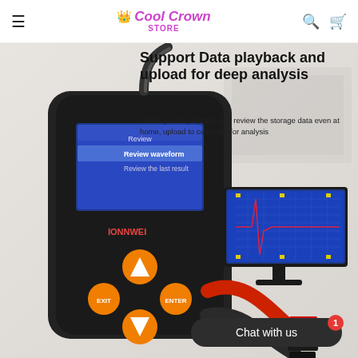Cool Crown STORE
[Figure (photo): KONNWEI battery tester diagnostic device with orange buttons and blue LCD screen showing 'Review', 'Review waveform', 'Review the last result' menu, and a computer monitor displaying waveform graph. Battery clamp cables visible. Dark background product photo.]
Support Data playback and upload for deep analysis
Allows you to playback and review the storage data even at home, upload to computer for analysis
Chat with us